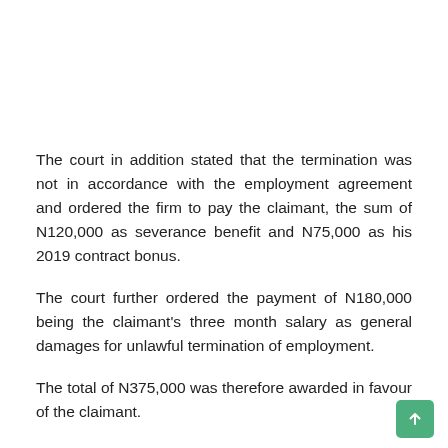The court in addition stated that the termination was not in accordance with the employment agreement and ordered the firm to pay the claimant, the sum of N120,000 as severance benefit and N75,000 as his 2019 contract bonus.
The court further ordered the payment of N180,000 being the claimant's three month salary as general damages for unlawful termination of employment.
The total of N375,000 was therefore awarded in favour of the claimant.